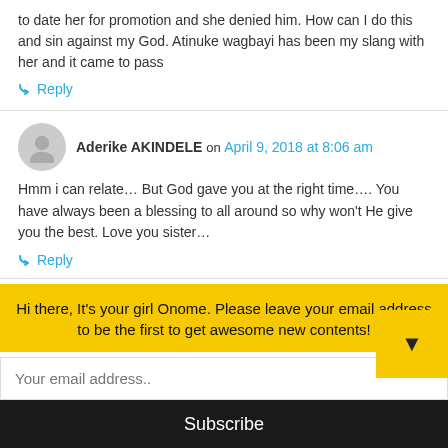to date her for promotion and she denied him. How can I do this and sin against my God. Atinuke wagbayi has been my slang with her and it came to pass
↳ Reply
Aderike AKINDELE on April 9, 2018 at 8:06 am
Hmm i can relate… But God gave you at the right time…. You have always been a blessing to all around so why won't He give you the best. Love you sister…
↳ Reply
Atinuke Salako on April 9, 2018 at 9:30 am
Hi there, It's your girl Onome. Please leave your email address to be the first to get awesome new contents!
Your email address..
Subscribe